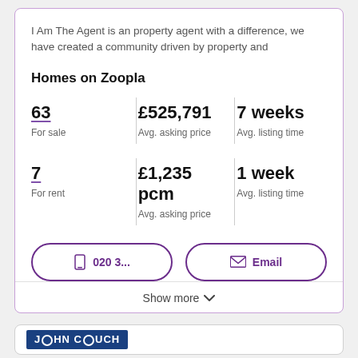I Am The Agent is an property agent with a difference, we have created a community driven by property and
Homes on Zoopla
63 For sale | £525,791 Avg. asking price | 7 weeks Avg. listing time
7 For rent | £1,235 pcm Avg. asking price | 1 week Avg. listing time
📱 020 3... | ✉ Email
Show more
[Figure (logo): John Couch logo with dark blue background]